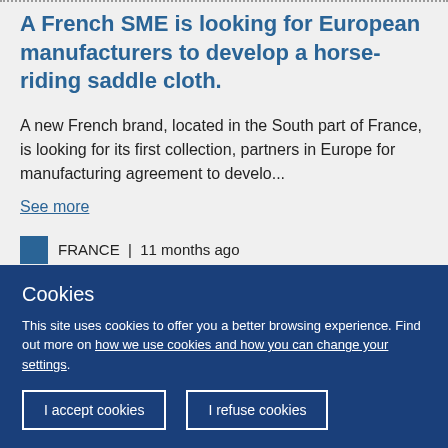A French SME is looking for European manufacturers to develop a horse-riding saddle cloth.
A new French brand, located in the South part of France, is looking for its first collection, partners in Europe for manufacturing agreement to develo...
See more
FRANCE  |  11 months ago
Cookies
This site uses cookies to offer you a better browsing experience. Find out more on how we use cookies and how you can change your settings.
I accept cookies
I refuse cookies